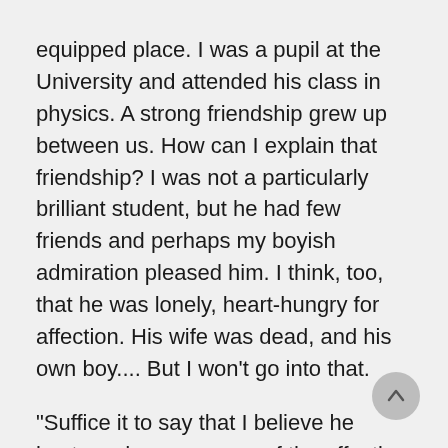equipped place. I was a pupil at the University and attended his class in physics. A strong friendship grew up between us. How can I explain that friendship? I was not a particularly brilliant student, but he had few friends and perhaps my boyish admiration pleased him. I think, too, that he was lonely, heart-hungry for affection. His wife was dead, and his own boy.... But I won't go into that.

"Suffice it to say that I believe he bestowed on me some of the affection he had felt for his dead son. Indeed I am sure he did. Be that as it may, I often visited him in his laboratory and watched, fascinated, as he pored over some of his intricate
[Figure (other): Circular scroll-up button with an upward arrow, grey background, positioned at bottom-right of page]